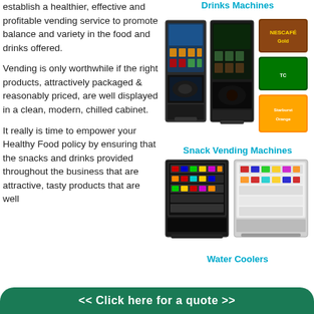establish a healthier, effective and profitable vending service to promote balance and variety in the food and drinks offered.
Vending is only worthwhile if the right products, attractively packaged & reasonably priced, are well displayed in a clean, modern, chilled cabinet.
It really is time to empower your Healthy Food policy by ensuring that the snacks and drinks provided throughout the business that are attractive, tasty products that are well
Drinks Machines
[Figure (photo): Two drinks vending machines side by side, with product brand logos (Nescafe Gold, a green branded drink, Starburst Orange) shown to the right]
Snack Vending Machines
[Figure (photo): Two snack vending machines side by side displaying various snack products behind glass panels]
Water Coolers
<< Click here for a quote >>